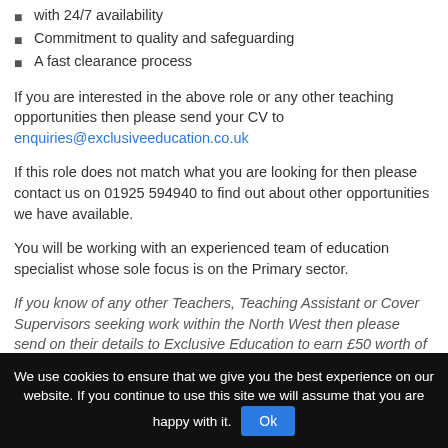with 24/7 availability
Commitment to quality and safeguarding
A fast clearance process
If you are interested in the above role or any other teaching opportunities then please send your CV to enquiries@exclusiveeducation.co.uk
If this role does not match what you are looking for then please contact us on 01925 594940 to find out about other opportunities we have available.
You will be working with an experienced team of education specialist whose sole focus is on the Primary sector.
If you know of any other Teachers, Teaching Assistant or Cover Supervisors seeking work within the North West then please send on their details to Exclusive Education to earn £50 worth of vouchers*
We use cookies to ensure that we give you the best experience on our website. If you continue to use this site we will assume that you are happy with it. Ok